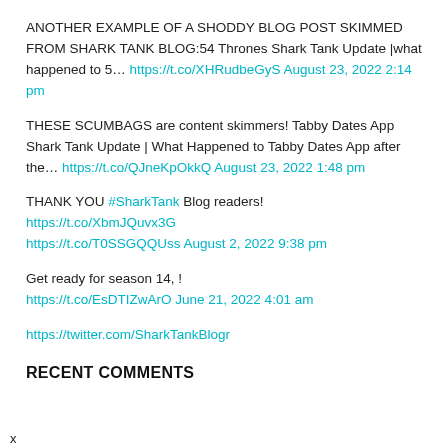ANOTHER EXAMPLE OF A SHODDY BLOG POST SKIMMED FROM SHARK TANK BLOG:54 Thrones Shark Tank Update |what happened to 5… https://t.co/XHRudbeGyS August 23, 2022 2:14 pm
THESE SCUMBAGS are content skimmers! Tabby Dates App Shark Tank Update | What Happened to Tabby Dates App after the… https://t.co/QJneKpOkkQ August 23, 2022 1:48 pm
THANK YOU #SharkTank Blog readers! https://t.co/XbmJQuvx3G https://t.co/T0SSGQQUss August 2, 2022 9:38 pm
Get ready for season 14, ! https://t.co/EsDTIZwArO June 21, 2022 4:01 am
https://twitter.com/SharkTankBlogr
RECENT COMMENTS
x